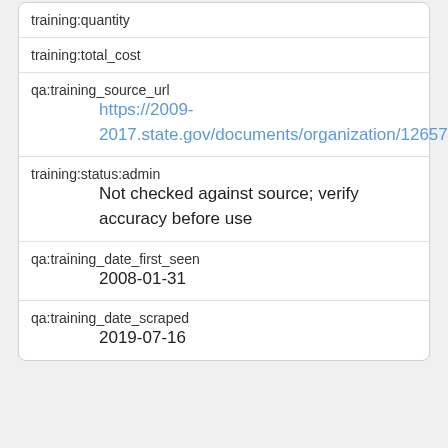| training:quantity |  |
| training:total_cost |  |
| qa:training_source_url | https://2009-2017.state.gov/documents/organization/126573.pdf |
| training:status:admin | Not checked against source; verify accuracy before use |
| qa:training_date_first_seen | 2008-01-31 |
| qa:training_date_scraped | 2019-07-16 |
| training:id:admin | 5d903c17-2d65-43e1-9a63-a84061dcd1e0 |
| training:source | 258be1a1-a9e5-4d7f-b8b0-0500a2714580 |